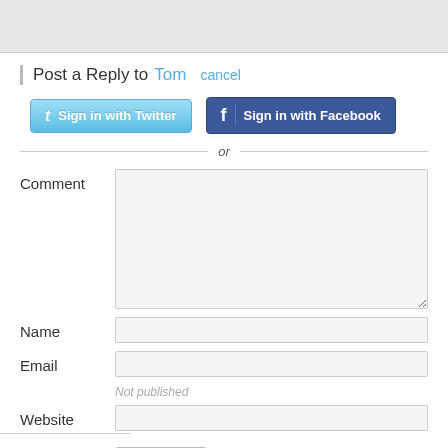Post a Reply to Tom  cancel
[Figure (screenshot): Sign in with Twitter button (light blue gradient with Twitter bird icon)]
[Figure (screenshot): Sign in with Facebook button (dark blue with Facebook f icon)]
or
Comment
Name
Email
Not published
Website
[Figure (screenshot): Post It submit button]